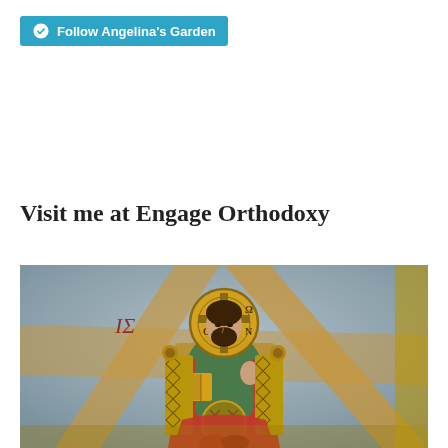Follow Angelina's Garden
Visit me at Engage Orthodoxy
[Figure (photo): Byzantine mosaic or fresco depicting Christ Pantocrator seated on a throne, wearing red and green robes, with a golden halo and cross. He holds a book in one hand and raises the other in blessing. The background features golden rays and bluish-grey tones.]